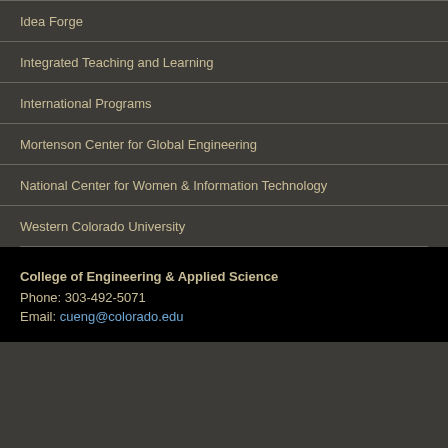Idea Forge
Integrated Teaching and Learning
International Programs
Mortenson Center for Global Engineering
National Center for Women & Information Technology
Western Colorado University
College of Engineering & Applied Science
Phone: 303-492-5071
Email: cueng@colorado.edu